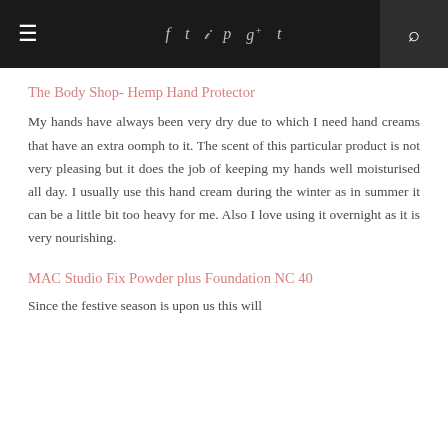≡  f  t  ☗  ℗  g+  t  🔍
The Body Shop- Hemp Hand Protector
My hands have always been very dry due to which I need hand creams that have an extra oomph to it. The scent of this particular product is not very pleasing but it does the job of keeping my hands well moisturised all day. I usually use this hand cream during the winter as in summer it can be a little bit too heavy for me. Also I love using it overnight as it is very nourishing.
MAC Studio Fix Powder plus Foundation NC 40
Since the festive season is upon us this will